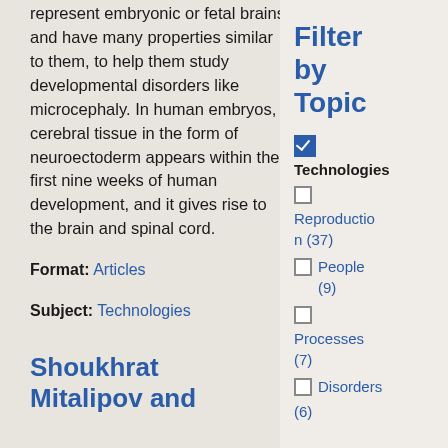represent embryonic or fetal brains and have many properties similar to them, to help them study developmental disorders like microcephaly. In human embryos, cerebral tissue in the form of neuroectoderm appears within the first nine weeks of human development, and it gives rise to the brain and spinal cord.
Format: Articles
Subject: Technologies
Shoukhrat Mitalipov and
Filter by Topic
Technologies (checked)
Reproduction (37)
People (9)
Processes (7)
Disorders (6)